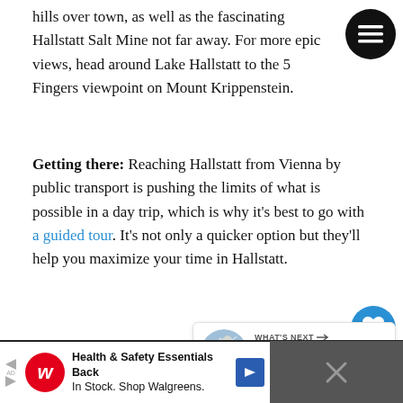hills over town, as well as the fascinating Hallstatt Salt Mine not far away. For more epic views, head around Lake Hallstatt to the 5 Fingers viewpoint on Mount Krippenstein.
Getting there: Reaching Hallstatt from Vienna by public transport is pushing the limits of what is possible in a day trip, which is why it's best to go with a guided tour. It's not only a quicker option but they'll help you maximize your time in Hallstatt.
[Figure (other): Circular menu button (hamburger icon) top right, black background]
[Figure (other): Blue circular heart/favorite button on right side]
[Figure (other): White circular share button on right side]
[Figure (other): What's Next card showing mountain photo thumbnail and text '10 Best Day Trips from...']
[Figure (other): Advertisement banner at bottom: Health & Safety Essentials Back In Stock. Shop Walgreens.]